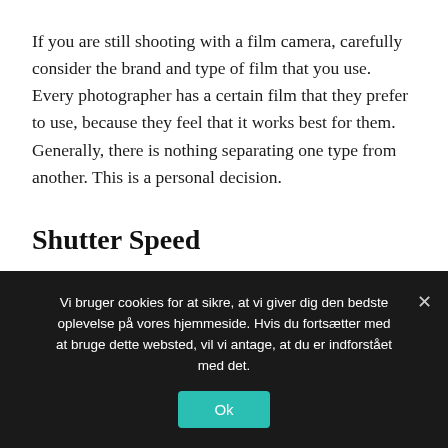If you are still shooting with a film camera, carefully consider the brand and type of film that you use. Every photographer has a certain film that they prefer to use, because they feel that it works best for them. Generally, there is nothing separating one type from another. This is a personal decision.
Shutter Speed
Be able to know when you do or don't need flash. Don't forget to turn it off after you have taken your
Vi bruger cookies for at sikre, at vi giver dig den bedste oplevelse på vores hjemmeside. Hvis du fortsætter med at bruge dette websted, vil vi antage, at du er indforstået med det.